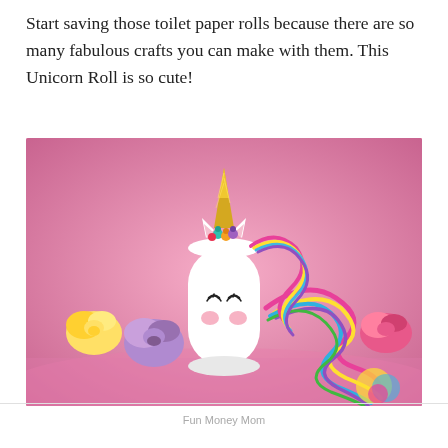Start saving those toilet paper rolls because there are so many fabulous crafts you can make with them. This Unicorn Roll is so cute!
[Figure (photo): A toilet paper roll decorated as a unicorn with a gold glitter horn, colorful ribbon mane, flower crown, drawn-on eyes and pink cheeks, surrounded by paper flowers (yellow, purple, pink) and colorful curling ribbons on a pink background.]
Fun Money Mom